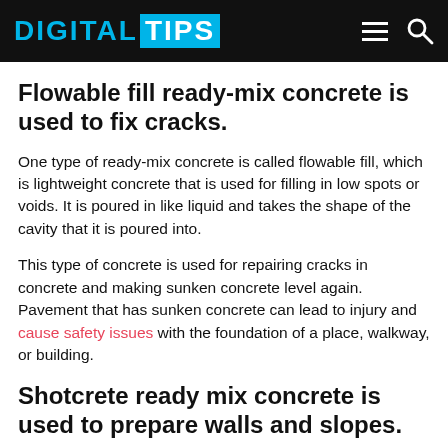DIGITAL TIPS
Flowable fill ready-mix concrete is used to fix cracks.
One type of ready-mix concrete is called flowable fill, which is lightweight concrete that is used for filling in low spots or voids. It is poured in like liquid and takes the shape of the cavity that it is poured into.
This type of concrete is used for repairing cracks in concrete and making sunken concrete level again. Pavement that has sunken concrete can lead to injury and cause safety issues with the foundation of a place, walkway, or building.
Shotcrete ready mix concrete is used to prepare walls and slopes.